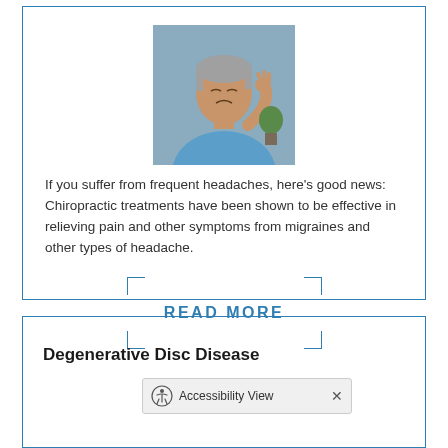[Figure (photo): Older man with grey hair in a blue shirt, pressing fingers to his temple/forehead appearing to have a headache]
If you suffer from frequent headaches, here's good news: Chiropractic treatments have been shown to be effective in relieving pain and other symptoms from migraines and other types of headache.
READ MORE
Degenerative Disc Disease